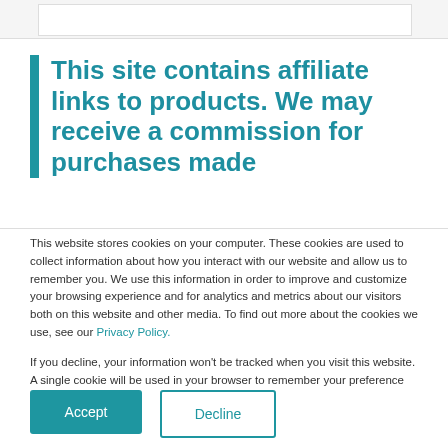This site contains affiliate links to products. We may receive a commission for purchases made
This website stores cookies on your computer. These cookies are used to collect information about how you interact with our website and allow us to remember you. We use this information in order to improve and customize your browsing experience and for analytics and metrics about our visitors both on this website and other media. To find out more about the cookies we use, see our Privacy Policy.
If you decline, your information won't be tracked when you visit this website. A single cookie will be used in your browser to remember your preference not to be tracked.